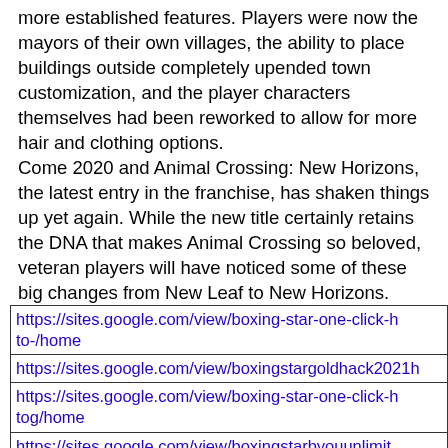more established features. Players were now the mayors of their own villages, the ability to place buildings outside completely upended town customization, and the player characters themselves had been reworked to allow for more hair and clothing options.
Come 2020 and Animal Crossing: New Horizons, the latest entry in the franchise, has shaken things up yet again. While the new title certainly retains the DNA that makes Animal Crossing so beloved, veteran players will have noticed some of these big changes from New Leaf to New Horizons.
| https://sites.google.com/view/boxing-star-one-click-h to-/home |
| https://sites.google.com/view/boxingstargoldhack2021h |
| https://sites.google.com/view/boxing-star-one-click-h tog/home |
| https://sites.google.com/view/boxingstarbyouunlimit... |